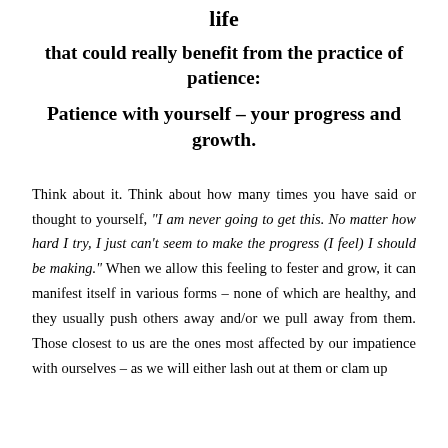life that could really benefit from the practice of patience: Patience with yourself – your progress and growth.
Think about it. Think about how many times you have said or thought to yourself, "I am never going to get this. No matter how hard I try, I just can't seem to make the progress (I feel) I should be making." When we allow this feeling to fester and grow, it can manifest itself in various forms – none of which are healthy, and they usually push others away and/or we pull away from them. Those closest to us are the ones most affected by our impatience with ourselves – as we will either lash out at them or clam up